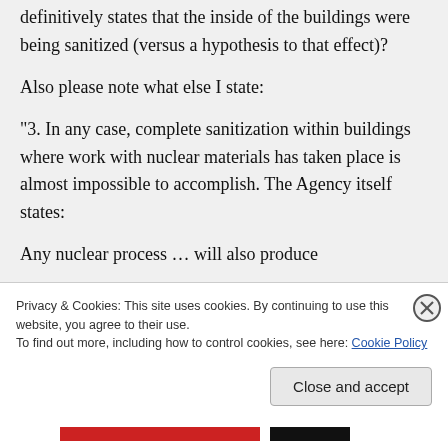definitively states that the inside of the buildings were being sanitized (versus a hypothesis to that effect)?
Also please note what else I state:
“3. In any case, complete sanitization within buildings where work with nuclear materials has taken place is almost impossible to accomplish. The Agency itself states:
Any nuclear process … will also produce
Privacy & Cookies: This site uses cookies. By continuing to use this website, you agree to their use.
To find out more, including how to control cookies, see here: Cookie Policy
Close and accept